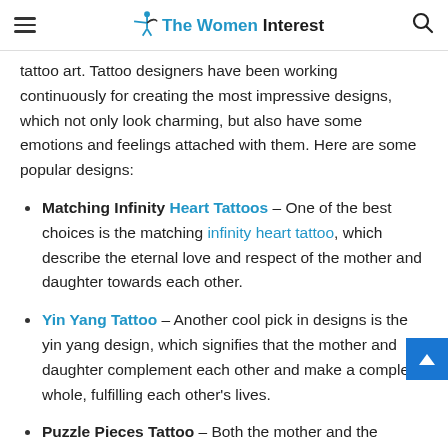The Women Interest
tattoo art. Tattoo designers have been working continuously for creating the most impressive designs, which not only look charming, but also have some emotions and feelings attached with them. Here are some popular designs:
Matching Infinity Heart Tattoos – One of the best choices is the matching infinity heart tattoo, which describe the eternal love and respect of the mother and daughter towards each other.
Yin Yang Tattoo – Another cool pick in designs is the yin yang design, which signifies that the mother and daughter complement each other and make a complete whole, fulfilling each other's lives.
Puzzle Pieces Tattoo – Both the mother and the daughter can have pieces of puzzles tattooed on